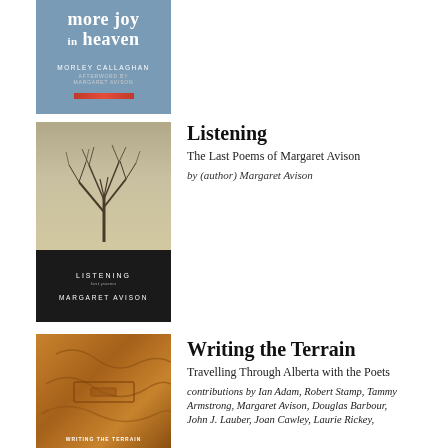[Figure (photo): Book cover: 'more joy in heaven' by Morley Callaghan, afterword by Margaret Avison. Blue-grey cover with title in white serif font.]
[Figure (photo): Book cover: 'Listening: Last Poems' by Margaret Avison. Black and white photograph of a bare tree against a cloudy sky, dark bottom panel with title and author name.]
Listening
The Last Poems of Margaret Avison
by (author) Margaret Avison
[Figure (photo): Book cover: 'Writing the Terrain' — orange/brown textured cover with embossed or leather-like surface.]
Writing the Terrain
Travelling Through Alberta with the Poets
contributions by Ian Adam, Robert Stamp, Tammy Armstrong, Margaret Avison, Douglas Barbour, John J. Lauber, Joan Cawley, Laurie Rickey,